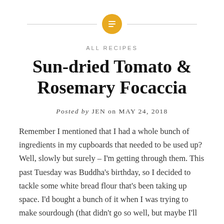ALL RECIPES
Sun-dried Tomato & Rosemary Focaccia
Posted by JEN on MAY 24, 2018
Remember I mentioned that I had a whole bunch of ingredients in my cupboards that needed to be used up? Well, slowly but surely – I'm getting through them. This past Tuesday was Buddha's birthday, so I decided to tackle some white bread flour that's been taking up space. I'd bought a bunch of it when I was trying to make sourdough (that didn't go so well, but maybe I'll